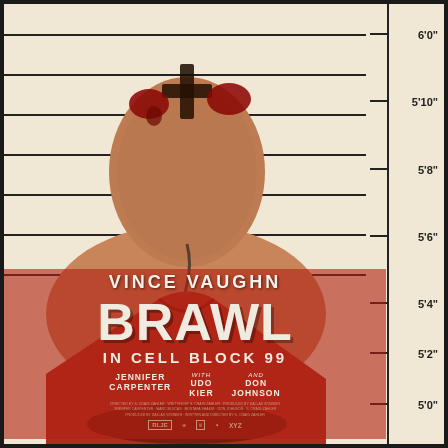[Figure (illustration): Movie poster for 'Brawl in Cell Block 99' featuring Vince Vaughn shown from behind with shaved head and cross tattoo, wearing a red shirt, standing against a police lineup wall with height markers from 5'0" to 6'0". The image has a sepia/orange toned color treatment with blood marks on the head.]
VINCE VAUGHN
BRAWL
IN CELL BLOCK 99
JENNIFER CARPENTER
WITH UDO KIER
AND DON JOHNSON